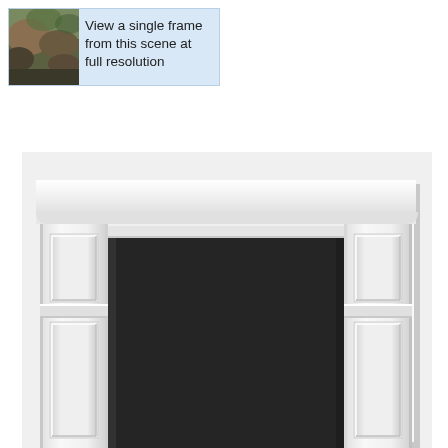[Figure (screenshot): Tooltip UI element showing a small thumbnail of a nature/rock scene on the left and text 'View a single frame from this scene at full resolution' on a light blue background]
[Figure (photo): A white architectural surround or fireplace mantel frame with ornate molding at the top, flanking pilasters with panels, and a large dark/black central opening or screen]